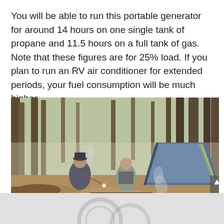You will be able to run this portable generator for around 14 hours on one single tank of propane and 11.5 hours on a full tank of gas. Note that these figures are for 25% load. If you plan to run an RV air conditioner for extended periods, your fuel consumption will be much higher.
[Figure (photo): Outdoor camping scene in a forest with two people sitting near a campfire with marshmallows, a blue tent in the background among tall trees, and a Champion Dual Fuel portable generator in the foreground. The generator is black and yellow with controls visible on its panel.]